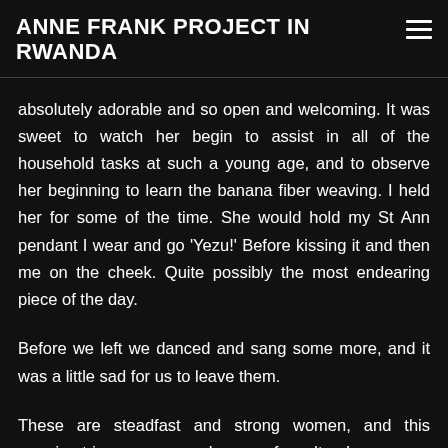ANNE FRANK PROJECT IN RWANDA
absolutely adorable and so open and welcoming. It was sweet to watch her begin to assist in all of the household tasks at such a young age, and to observe her beginning to learn the banana fiber weaving. I held her for some of the time. She would hold my St Ann pendant I wear and go 'Yezu!' Before kissing it and then me on the cheek. Quite possibly the most endearing piece of the day.
Before we left we danced and sang some more, and it was a little sad for us to leave them.
These are steadfast and strong women, and this morning trip gave me much more of a cultural